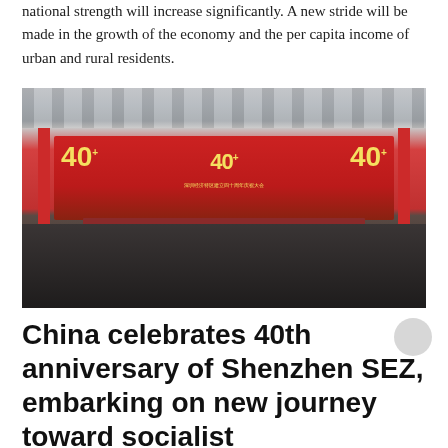national strength will increase significantly. A new stride will be made in the growth of the economy and the per capita income of urban and rural residents.
[Figure (photo): A large indoor ceremony hall with hundreds of attendees seated in rows facing a stage with a large red banner reading '40' (commemorating the 40th anniversary of Shenzhen Special Economic Zone). The banner features Chinese characters and '40' in gold lettering, with matching decorations on the left and right sides of the hall. The ceiling shows industrial skylights.]
China celebrates 40th anniversary of Shenzhen SEZ, embarking on new journey toward socialist